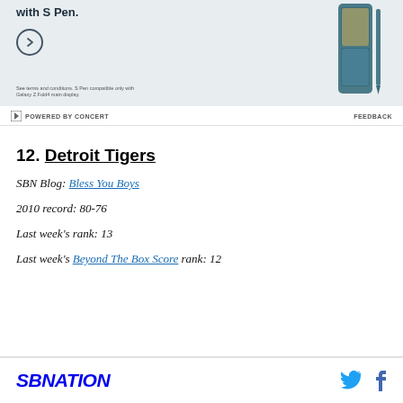[Figure (photo): Samsung Galaxy Z Fold4 advertisement banner with S Pen, showing phone and stylus on teal background with circular arrow button and fine print]
POWERED BY CONCERT   FEEDBACK
12. Detroit Tigers
SBN Blog: Bless You Boys
2010 record: 80-76
Last week's rank: 13
Last week's Beyond The Box Score rank: 12
SBNATION